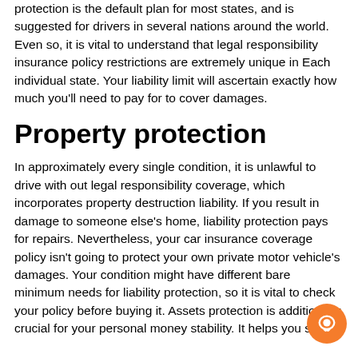protection is the default plan for most states, and is suggested for drivers in several nations around the world. Even so, it is vital to understand that legal responsibility insurance policy restrictions are extremely unique in Each individual state. Your liability limit will ascertain exactly how much you'll need to pay for to cover damages.
Property protection
In approximately every single condition, it is unlawful to drive with out legal responsibility coverage, which incorporates property destruction liability. If you result in damage to someone else's home, liability protection pays for repairs. Nevertheless, your car insurance coverage policy isn't going to protect your own private motor vehicle's damages. Your condition might have different bare minimum needs for liability protection, so it is vital to check your policy before buying it. Assets protection is additionally crucial for your personal money stability. It helps you stay clear of large costs still after the instance coverage doesn't